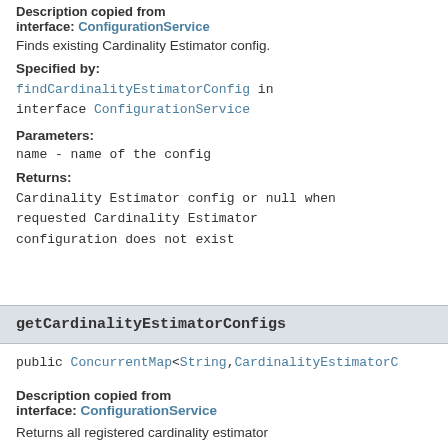Description copied from interface: ConfigurationService
Finds existing Cardinality Estimator config.
Specified by:
findCardinalityEstimatorConfig in interface ConfigurationService
Parameters:
name - name of the config
Returns:
Cardinality Estimator config or null when requested Cardinality Estimator configuration does not exist
getCardinalityEstimatorConfigs
public ConcurrentMap<String,CardinalityEstimatorC
Description copied from interface: ConfigurationService
Returns all registered cardinality estimator